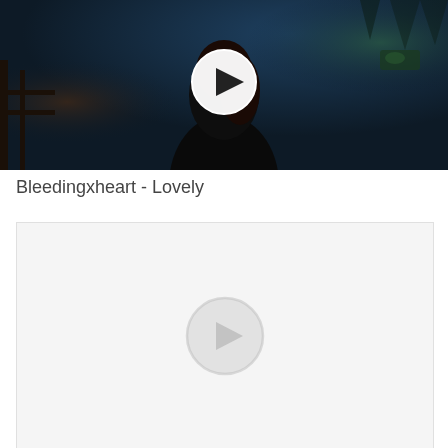[Figure (screenshot): Video thumbnail showing a dark scene with a person from behind against a twilight outdoor background. A white circular play button is centered on the image.]
Bleedingxheart - Lovely
[Figure (screenshot): Second video thumbnail placeholder with a light gray background and a faint circular play button icon centered on it.]